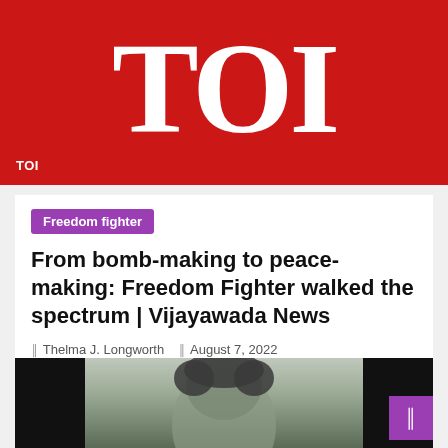[Figure (logo): Times of India (TOI) logo — large white serif letters TOI on red background with TOI label in bottom left]
Freedom fighter
From bomb-making to peace-making: Freedom Fighter walked the spectrum | Vijayawada News
Thelma J. Longworth   August 7, 2022
[Figure (photo): Black and white photograph of a person, partially visible, bottom portion of the page]